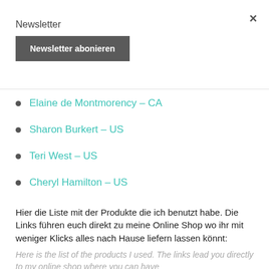Newsletter
Newsletter abonieren
Elaine de Montmorency – CA
Sharon Burkert – US
Teri West – US
Cheryl Hamilton – US
Hier die Liste mit der Produkte die ich benutzt habe. Die Links führen euch direkt zu meine Online Shop wo ihr mit weniger Klicks alles nach Hause liefern lassen könnt:
Here is the list of the products I used. The links lead you directly to my online shop where you can have